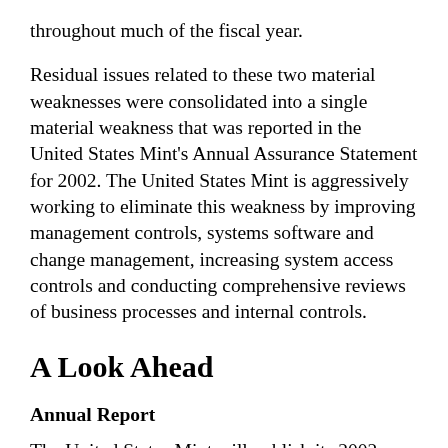throughout much of the fiscal year.
Residual issues related to these two material weaknesses were consolidated into a single material weakness that was reported in the United States Mint's Annual Assurance Statement for 2002. The United States Mint is aggressively working to eliminate this weakness by improving management controls, systems software and change management, increasing system access controls and conducting comprehensive reviews of business processes and internal controls.
A Look Ahead
Annual Report
The United States Mint will publish its 2002 Annual Report in February 2003. Copies will be provided to the public, Congress, other federal agencies, the numismatic press and other interested parties.